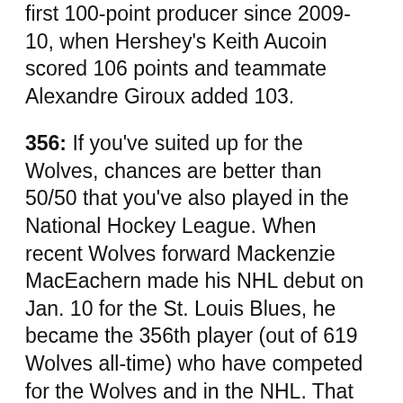first 100-point producer since 2009-10, when Hershey's Keith Aucoin scored 106 points and teammate Alexandre Giroux added 103.
356: If you've suited up for the Wolves, chances are better than 50/50 that you've also played in the National Hockey League. When recent Wolves forward Mackenzie MacEachern made his NHL debut on Jan. 10 for the St. Louis Blues, he became the 356th player (out of 619 Wolves all-time) who have competed for the Wolves and in the NHL. That 57.5 percent overall success rate is even higher among goaltenders. Of the 55 players who've tended the net for the Wolves over the years — starting with original goaltenders Ray LeBlanc and Wendell Young and continuing through current Wolves Max Lagace and Oscar Dansk — 38 boast NHL experience (69.1